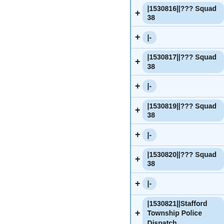+|1530816||??? Squad 38
+|-
+|1530817||??? Squad 38
+|-
+|1530819||??? Squad 38
+|-
+|1530820||??? Squad 38
+|-
+|1530821||Stafford Township Police Dispatch
+|-
+|1530822||??? Squad 38
+|-